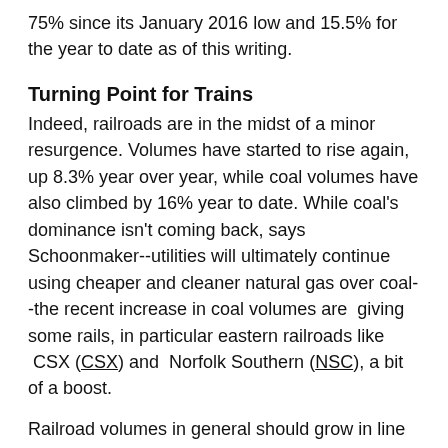75% since its January 2016 low and 15.5% for the year to date as of this writing.
Turning Point for Trains
Indeed, railroads are in the midst of a minor resurgence. Volumes have started to rise again, up 8.3% year over year, while coal volumes have also climbed by 16% year to date. While coal's dominance isn't coming back, says Schoonmaker--utilities will ultimately continue using cheaper and cleaner natural gas over coal--the recent increase in coal volumes are  giving some rails, in particular eastern railroads like  CSX (CSX) and  Norfolk Southern (NSC), a bit of a boost.
Railroad volumes in general should grow in line with GDP, with most of its product lines growing at a modest pace. However, intermodal transport--or shipping that involves multiple modes of transportation--has its advantages.